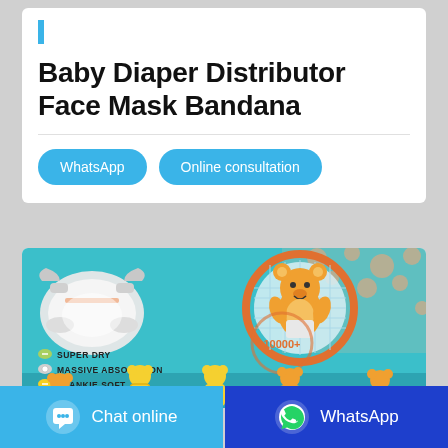Baby Diaper Distributor Face Mask Bandana
[Figure (illustration): WhatsApp and Online consultation buttons in rounded blue style]
[Figure (photo): Product banner for baby diapers showing diaper, cartoon bear, features: SUPER DRY, MASSIVE ABSORPTION, BLANKIE SOFT, and 10000+ text in circle, with cartoon bears along the bottom]
[Figure (infographic): Bottom action bar with Chat online button (light blue) and WhatsApp button (dark blue)]